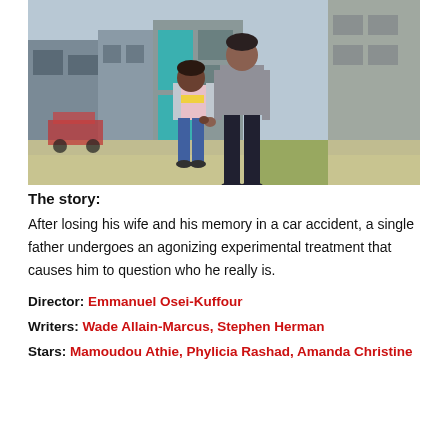[Figure (photo): Outdoor scene showing a young girl and a tall adult walking on a sidewalk, holding hands. The girl wears a pink and yellow striped top with a grey open jacket and jeans. The adult wears dark pants and a grey top. Houses and a teal door visible in background.]
The story:
After losing his wife and his memory in a car accident, a single father undergoes an agonizing experimental treatment that causes him to question who he really is.
Director: Emmanuel Osei-Kuffour
Writers: Wade Allain-Marcus, Stephen Herman
Stars: Mamoudou Athie, Phylicia Rashad, Amanda Christine